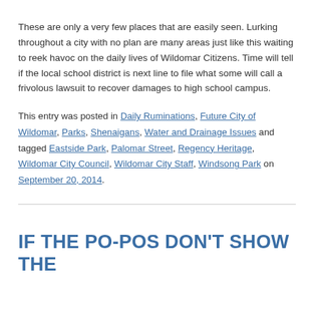These are only a very few places that are easily seen. Lurking throughout a city with no plan are many areas just like this waiting to reek havoc on the daily lives of Wildomar Citizens. Time will tell if the local school district is next line to file what some will call a frivolous lawsuit to recover damages to high school campus.
This entry was posted in Daily Ruminations, Future City of Wildomar, Parks, Shenaigans, Water and Drainage Issues and tagged Eastside Park, Palomar Street, Regency Heritage, Wildomar City Council, Wildomar City Staff, Windsong Park on September 20, 2014.
IF THE PO-POS DON'T SHOW THE